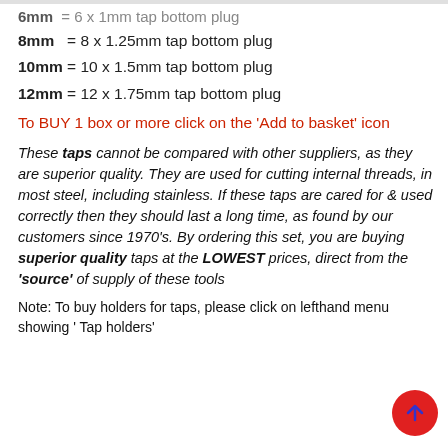6mm = 6 x 1mm tap bottom plug
8mm = 8 x 1.25mm tap bottom plug
10mm = 10 x 1.5mm tap bottom plug
12mm = 12 x 1.75mm tap bottom plug
To BUY 1 box or more click on the 'Add to basket' icon
These taps cannot be compared with other suppliers, as they are superior quality. They are used for cutting internal threads, in most steel, including stainless. If these taps are cared for & used correctly then they should last a long time, as found by our customers since 1970's. By ordering this set, you are buying superior quality taps at the LOWEST prices, direct from the 'source' of supply of these tools
Note: To buy holders for taps, please click on lefthand menu showing ' Tap holders'